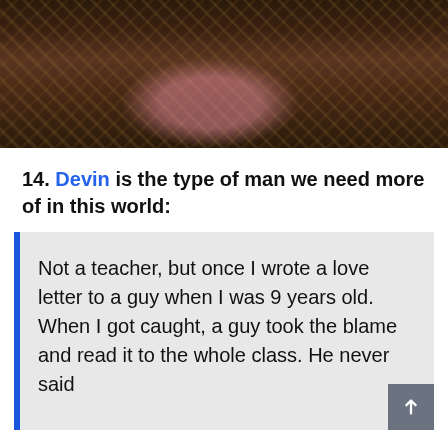[Figure (photo): Photo of a person in pink clothing sitting in a wicker chair, holding a glass, with bokeh lights in background]
14. Devin is the type of man we need more of in this world:
Not a teacher, but once I wrote a love letter to a guy when I was 9 years old. When I got caught, a guy took the blame and read it to the whole class. He never said